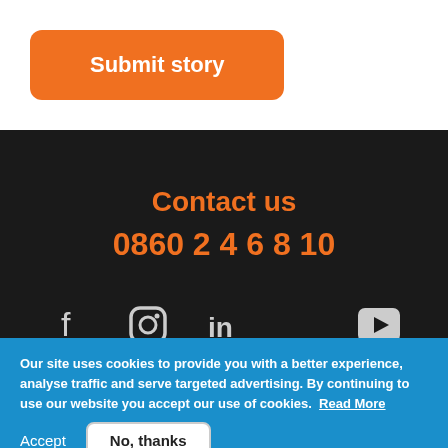[Figure (other): Orange 'Submit story' button]
Contact us
0860 2 4 6 8 10
[Figure (other): Social media icons: Facebook, Instagram, LinkedIn, YouTube]
Terms and conditions apply to all products. The availability of lending
Our site uses cookies to provide you with a better experience, analyse traffic and serve targeted advertising. By continuing to use our website you accept our use of cookies. Read More
Accept  No, thanks